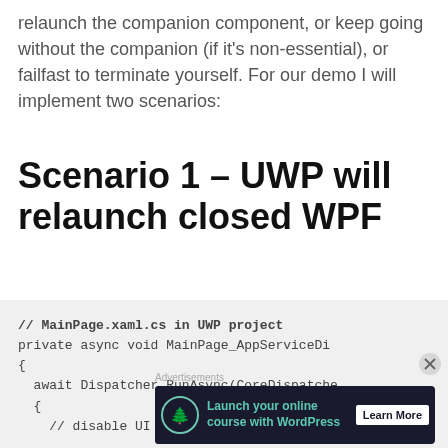relaunch the companion component, or keep going without the companion (if it's non-essential), or failfast to terminate yourself. For our demo I will implement two scenarios:
Scenario 1 – UWP will relaunch closed WPF
[Figure (screenshot): Code block on light gray background showing C# code snippet: // MainPage.xaml.cs in UWP project, private async void MainPage_AppServiceDi, {, await Dispatcher.RunAsync(CoreDispatche, {, // disable UI to access the connectio]
Advertisements
[Figure (infographic): Advertisement banner with dark background: Launch your online course with WordPress - Learn More button, with tree/upload icon]